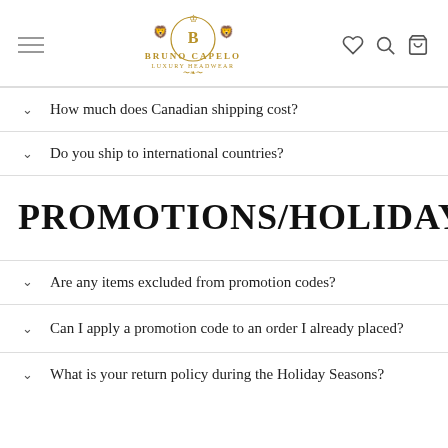Bruno Capelo Luxury Headwear
How much does Canadian shipping cost?
Do you ship to international countries?
PROMOTIONS/HOLIDAY
Are any items excluded from promotion codes?
Can I apply a promotion code to an order I already placed?
What is your return policy during the Holiday Seasons?